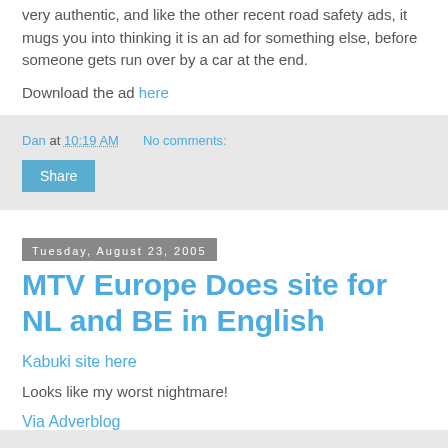very authentic, and like the other recent road safety ads, it mugs you into thinking it is an ad for something else, before someone gets run over by a car at the end.
Download the ad here
Dan at 10:19 AM   No comments:
Share
Tuesday, August 23, 2005
MTV Europe Does site for NL and BE in English
Kabuki site here
Looks like my worst nightmare!
Via Adverblog